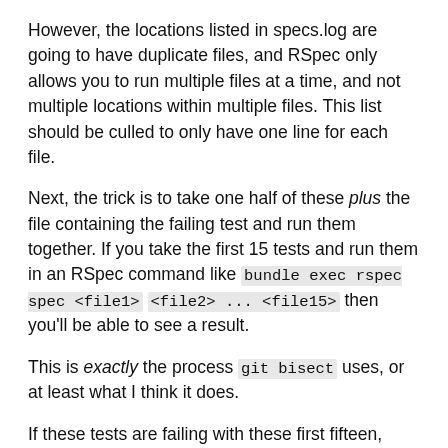However, the locations listed in specs.log are going to have duplicate files, and RSpec only allows you to run multiple files at a time, and not multiple locations within multiple files. This list should be culled to only have one line for each file.
Next, the trick is to take one half of these plus the file containing the failing test and run them together. If you take the first 15 tests and run them in an RSpec command like bundle exec rspec spec <file1> <file2> ... <file15> then you'll be able to see a result.
This is exactly the process git bisect uses, or at least what I think it does.
If these tests are failing with these first fifteen, then the failure is most likely caused by one of those tests. If it's not, then it's in the other half. Re-run the test suite with that half and see if you get a failure there